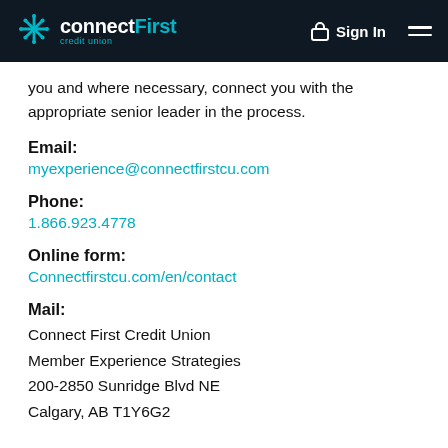connectFirst credit union — Sign In
you and where necessary, connect you with the appropriate senior leader in the process.
Email:
myexperience@connectfirstcu.com
Phone:
1.866.923.4778
Online form:
Connectfirstcu.com/en/contact
Mail:
Connect First Credit Union
Member Experience Strategies
200-2850 Sunridge Blvd NE
Calgary, AB T1Y6G2